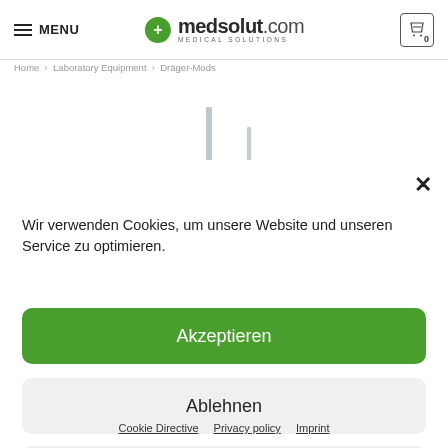MENU | medsolut.com MEDICAL SOLUTIONS | 0
Home · Laboratory Equipment · Dräger-Mods
[Figure (photo): Product image of Dräger-Mods laboratory equipment, showing two metallic prong-like instruments on white background]
Wir verwenden Cookies, um unsere Website und unseren Service zu optimieren.
Akzeptieren
Ablehnen
Einstellen
Cookie Directive  Privacy policy  Imprint